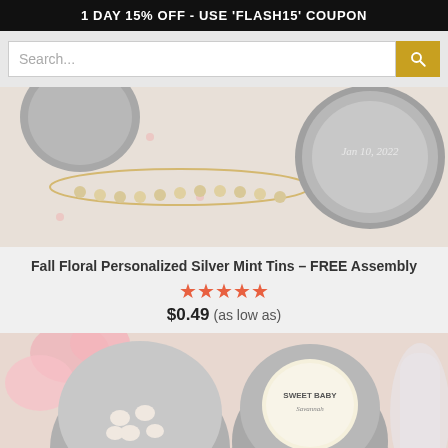1 DAY 15% OFF - USE 'FLASH15' COUPON
[Figure (screenshot): Search bar with text input field and yellow search button with magnifying glass icon]
[Figure (photo): Close-up photo of silver mint tins with 'Jan 10, 2022' label, pearls, and polka dot background]
Fall Floral Personalized Silver Mint Tins – FREE Assembly
[Figure (other): Five orange/red star rating icons]
$0.49 (as low as)
[Figure (photo): Close-up photo of silver mint tins with 'SWEET BABY' label, heart-shaped candies, and pink flowers]